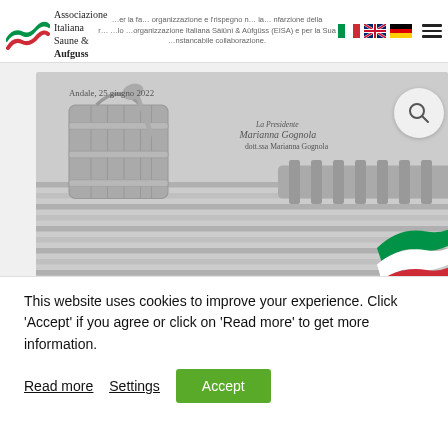Associazione Italiana Saune & Aufguss
[Figure (photo): Scanned letter dated 'Andale, 25 giugno 2022' signed by 'La Presidente, dott.ssa Marianna Gognola', with a sauna bucket and wooden bench illustration in the background, Italian flag colors in bottom-right corner. Footer text: 'AISA Associazione Italiana Saune e Aufguss, Via Tirideo, 16, 29022 Bosnasco (PC), C.F. 98259148751, P.IVA: 01639198050']
This website uses cookies to improve your experience. Click 'Accept' if you agree or click on 'Read more' to get more information.
Read more
Settings
Accept